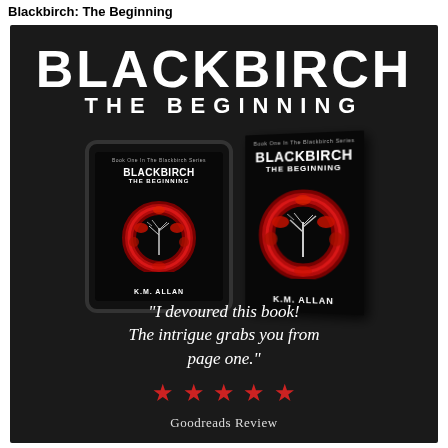Blackbirch: The Beginning
[Figure (illustration): Book promotional image on dark background. Large white bold text reads 'BLACKBIRCH' and 'THE BEGINNING'. Below are two book cover mockups (tablet ebook and physical book) both showing the Blackbirch: The Beginning cover with a red ring/wreath and bare tree, authored by K.M. Allan. A quote reads: 'I devoured this book! The intrigue grabs you from page one.' followed by five red stars and 'Goodreads Review'.]